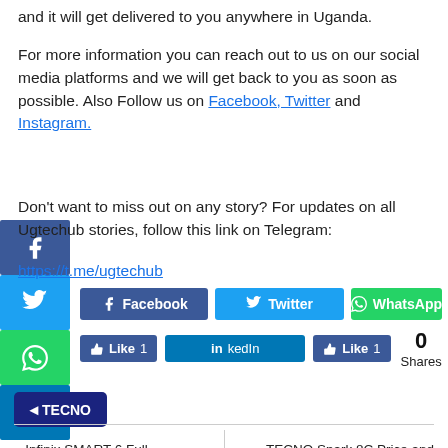and it will get delivered to you anywhere in Uganda.
For more information you can reach out to us on our social media platforms and we will get back to you as soon as possible. Also Follow us on Facebook, Twitter and Instagram.
Don't want to miss out on any story? For updates on all Ugtechub stories, follow this link on Telegram:
https://t.me/ugtechub
[Figure (screenshot): Social share buttons: Facebook, Twitter, WhatsApp, LinkedIn with like counts and 0 Shares counter]
[Figure (logo): TECNO tag button]
« Infinix SMART 6 Full Specifications and Price in Uganda
TECNO Spark 8C Price and Specifications in Uganda »